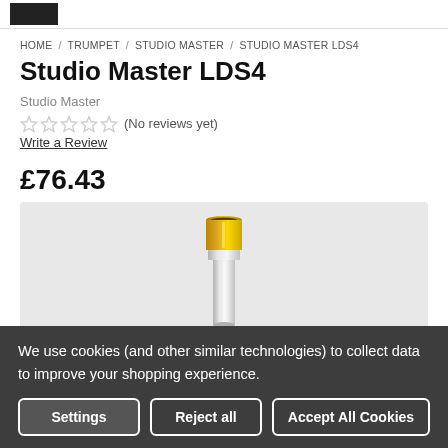[Logo]
HOME / TRUMPET / STUDIO MASTER / STUDIO MASTER LDS4
Studio Master LDS4
Studio Master
★★★★★ (No reviews yet)
Write a Review
£76.43
[Figure (photo): A silver and gold trumpet mouthpiece standing upright against a light grey background.]
We use cookies (and other similar technologies) to collect data to improve your shopping experience.
Settings   Reject all   Accept All Cookies